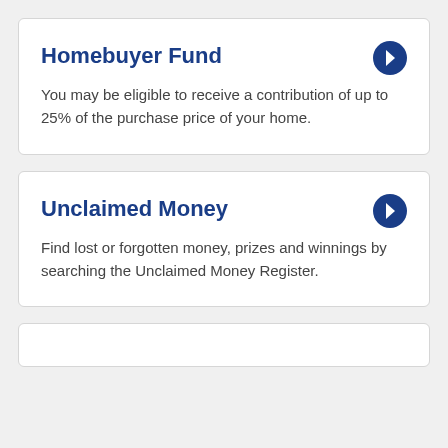Homebuyer Fund
You may be eligible to receive a contribution of up to 25% of the purchase price of your home.
Unclaimed Money
Find lost or forgotten money, prizes and winnings by searching the Unclaimed Money Register.